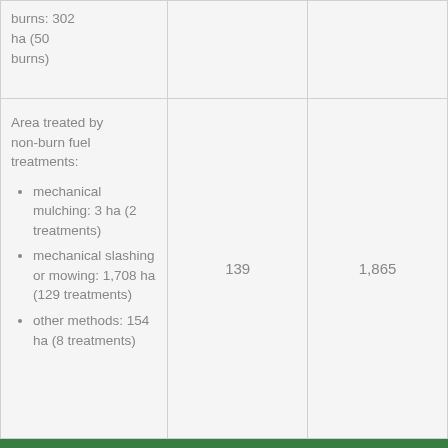| Description | Count | Total |
| --- | --- | --- |
| burns: 302 ha (50 burns) |  |  |
| Area treated by non-burn fuel treatments:
• mechanical mulching: 3 ha (2 treatments)
• mechanical slashing or mowing: 1,708 ha (129 treatments)
• other methods: 154 ha (8 treatments) | 139 | 1,865 |
|  |  |  |